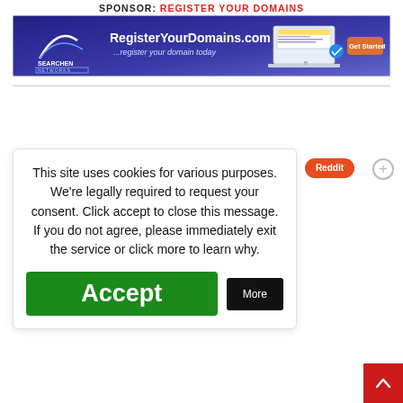SPONSOR: REGISTER YOUR DOMAINS
[Figure (screenshot): RegisterYourDomains.com advertisement banner with Searchen Networks logo, laptop graphic, and Get Started button on blue/purple background]
This site uses cookies for various purposes. We're legally required to request your consent. Click accept to close this message. If you do not agree, please immediately exit the service or click more to learn why.
Accept | More